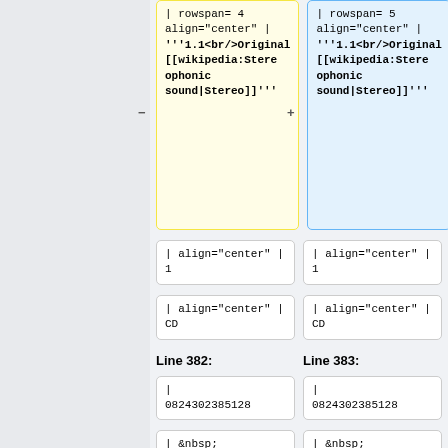| rowspan= 4 align="center" | '''1.1<br/>Original [[wikipedia:Stereophonic sound|Stereo]]'''
| rowspan= 5 align="center" | '''1.1<br/>Original [[wikipedia:Stereophonic sound|Stereo]]'''
| align="center" | 1
| align="center" | 1
| align="center" | CD
| align="center" | CD
Line 382:
Line 383:
| 0824302385128
| 0824302385128
| &nbsp;
| &nbsp;
| US edition, manufactured and distributed by UMe<ref name="ZFTEmai
| US edition, manufactured and distributed by UMe<ref name="ZFTEmai